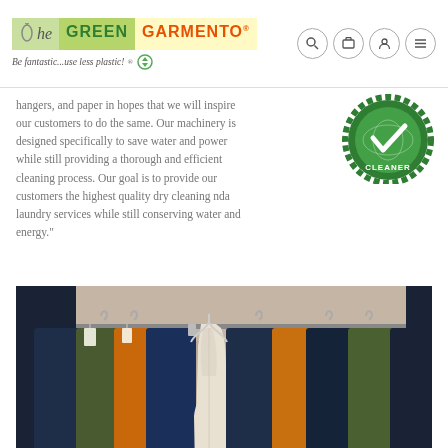[Figure (logo): The Green Garmento logo with tagline 'Be fantastic...use less plastic!' and recycling icon]
hangers, and paper in hopes that we will inspire our customers to do the same. Our machinery is designed specifically to save water and power while still providing a thorough and efficient cleaning process. Our goal is to provide our customers the highest quality dry cleaning nda laundry services while still conserving water and energy."
[Figure (illustration): Green certified cleaner badge/seal with checkmark and globe icon]
[Figure (photo): Photo of colorful dry cleaned clothes hanging on a rack with a white dress in the center]